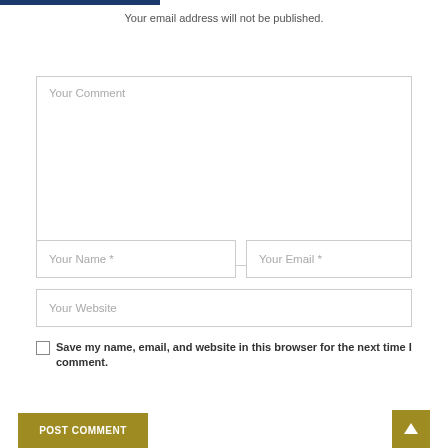[Figure (screenshot): Blue horizontal bar at top left, partial logo]
Your email address will not be published.
[Figure (screenshot): Comment form with fields: Your Comment (textarea), Your Name *, Your Email *, Your Website, a save checkbox, POST COMMENT button, and scroll-to-top button]